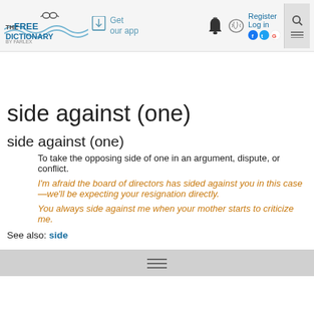The Free Dictionary by Farlex — Get our app — Register Log in
side against (one)
side against (one)
To take the opposing side of one in an argument, dispute, or conflict.
I'm afraid the board of directors has sided against you in this case—we'll be expecting your resignation directly.
You always side against me when your mother starts to criticize me.
See also: side